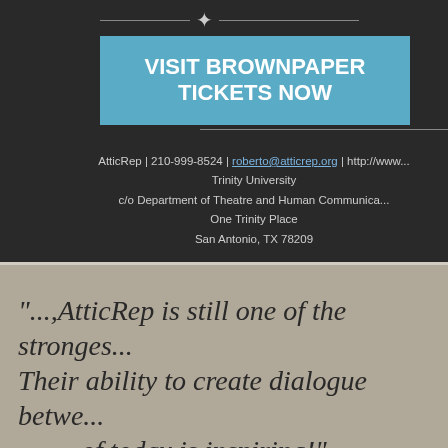[Figure (other): Fleur-de-lis ornament with horizontal lines on either side]
VISIT BROWNPAPER TICKETS NOW
AtticRep | 210-999-8524 | roberto@atticrep.org | http://www...
Trinity University
c/o Department of Theatre and Human Communica...
One Trinity Place
San Antonio, TX 78209
"...,AtticRep is still one of the stronges... Their ability to create dialogue betwe... of today is inspiring!"
- Matthew Byron Cassi, blogged on attic...
Stay Co...